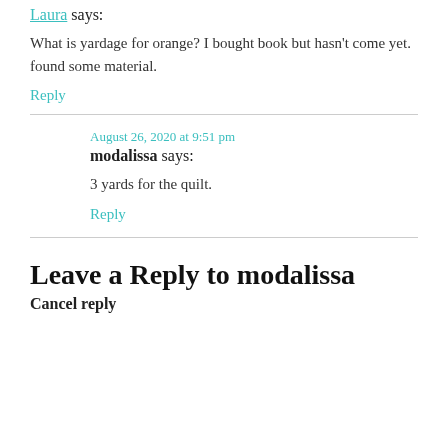Laura says:
What is yardage for orange? I bought book but hasn't come yet. found some material.
Reply
August 26, 2020 at 9:51 pm
modalissa says:
3 yards for the quilt.
Reply
Leave a Reply to modalissa
Cancel reply